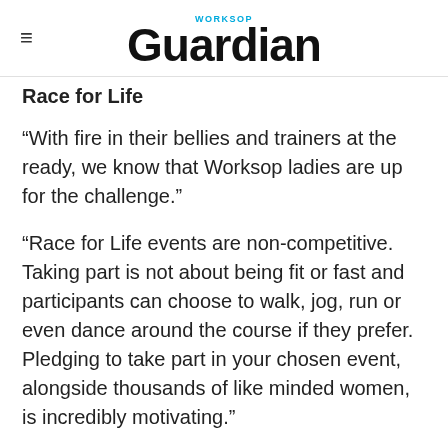WORKSOP Guardian
Race for Life
“With fire in their bellies and trainers at the ready, we know that Worksop ladies are up for the challenge.”
“Race for Life events are non-competitive. Taking part is not about being fit or fast and participants can choose to walk, jog, run or even dance around the course if they prefer. Pledging to take part in your chosen event, alongside thousands of like minded women, is incredibly motivating.”